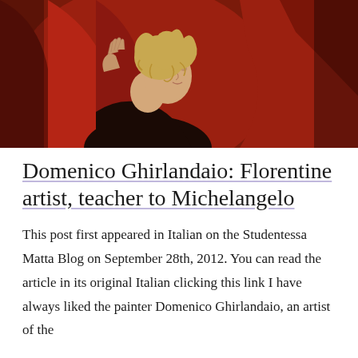[Figure (photo): Detail of a Renaissance painting showing a young figure with curly blonde hair wearing red robes, looking upward with hands raised, in the style of Domenico Ghirlandaio.]
Domenico Ghirlandaio: Florentine artist, teacher to Michelangelo
This post first appeared in Italian on the Studentessa Matta Blog on September 28th, 2012. You can read the article in its original Italian clicking this link I have always liked the painter Domenico Ghirlandaio, an artist of the